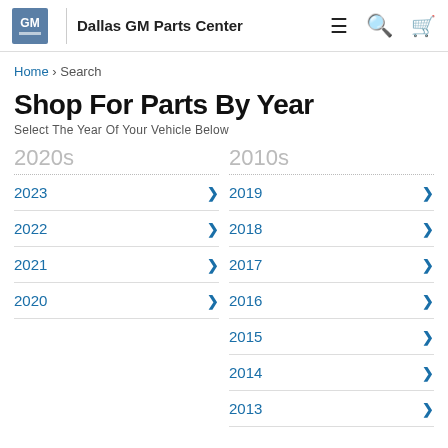Dallas GM Parts Center
Home > Search
Shop For Parts By Year
Select The Year Of Your Vehicle Below
2020s
2023
2022
2021
2020
2010s
2019
2018
2017
2016
2015
2014
2013